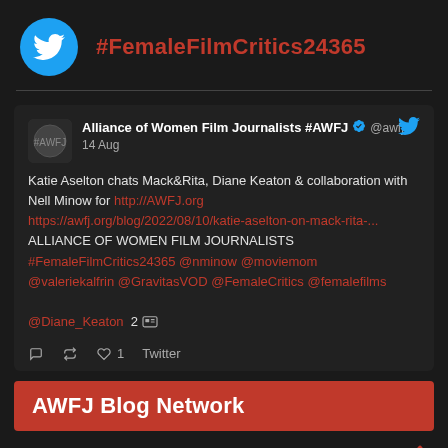#FemaleFilmCritics24365
Alliance of Women Film Journalists #AWFJ @awfj 14 Aug
Katie Aselton chats Mack&Rita, Diane Keaton & collaboration with Nell Minow for http://AWFJ.org https://awfj.org/blog/2022/08/10/katie-aselton-on-mack-rita-... ALLIANCE OF WOMEN FILM JOURNALISTS #FemaleFilmCritics24365 @nminow @moviemom @valeriekalfrin @GravitasVOD @FemaleCritics @femalefilms @Diane_Keaton 2
AWFJ Blog Network
Women's Collective Perspectives